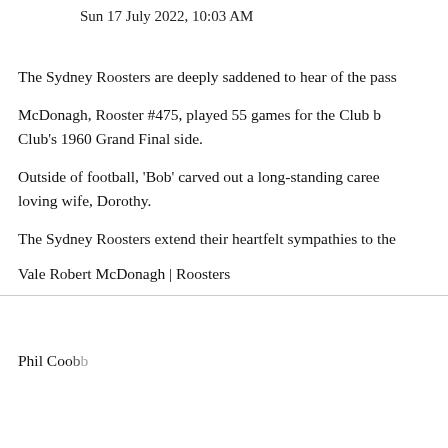Sun 17 July 2022, 10:03 AM
The Sydney Roosters are deeply saddened to hear of the pass
McDonagh, Rooster #475, played 55 games for the Club b Club's 1960 Grand Final side.
Outside of football, 'Bob' carved out a long-standing caree loving wife, Dorothy.
The Sydney Roosters extend their heartfelt sympathies to the
Vale Robert McDonagh | Roosters
Phil Coo bb...